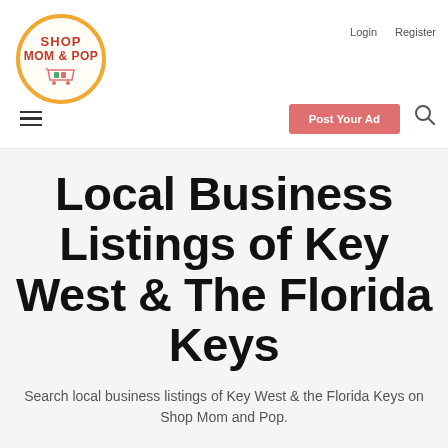[Figure (logo): Shop Mom & Pop circular logo with orange border, red text and shopping cart icon]
Login   Register
[Figure (other): Hamburger menu icon (three horizontal lines)]
[Figure (other): Post Your Ad button (salmon/pink color)]
[Figure (other): Search magnifying glass icon]
Local Business Listings of Key West & The Florida Keys
Search local business listings of Key West & the Florida Keys on Shop Mom and Pop.